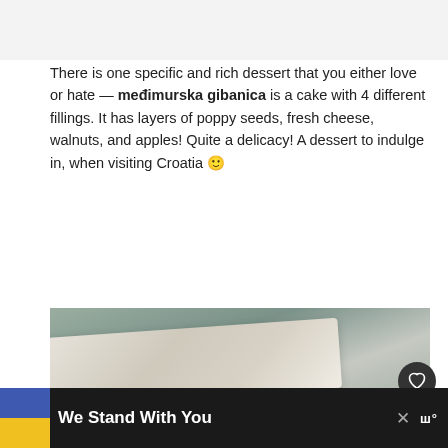There is one specific and rich dessert that you either love or hate — međimurska gibanica is a cake with 4 different fillings. It has layers of poppy seeds, fresh cheese, walnuts, and apples! Quite a delicacy! A dessert to indulge in, when visiting Croatia 🙂
[Figure (photo): Close-up photo of međimurska gibanica — a layered pastry cake on parchment paper against a grey stone background, showing the golden-brown baked top with filling layers visible.]
We Stand With You